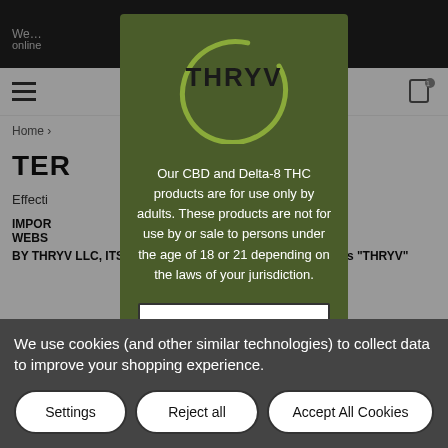We ... ing online ... us at
[Figure (logo): THRYV logo with circular brush stroke and bold text]
Our CBD and Delta-8 THC products are for use only by adults. These products are not for use by or sale to persons under the age of 18 or 21 depending on the laws of your jurisdiction.
I am of legal age specified above
I am under legal age specified above
Home
TER
Effecti
IMPOR... WEBS... DED BY THRYV LLC, ITS AFFILIATES OR AGENTS (referred to as 'THRYV'
We use cookies (and other similar technologies) to collect data to improve your shopping experience.
Settings
Reject all
Accept All Cookies